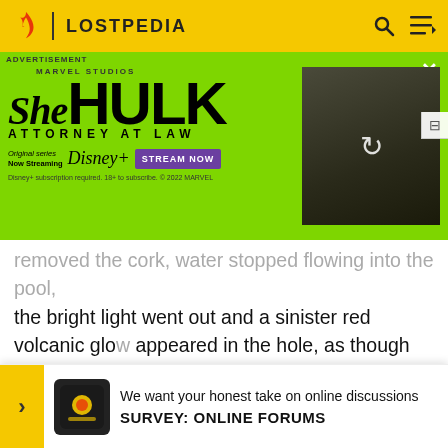LOSTPEDIA
[Figure (screenshot): She Hulk Attorney at Law advertisement banner on green background with Marvel Studios logo, Disney+ streaming info, Stream Now button, and image of She-Hulk character]
removed the cork, water stopped flowing into the pool, the bright light went out and a sinister red volcanic glow appeared in the hole, as though "the Island just lost its cooling system."[1] The Island, too, began to tremble and collapse into the sea. When Jack replaced the stone, the light was restored, the quakes subsided and water began to flow... back into pool... global
[Figure (infographic): Survey banner: We want your honest take on online discussions. SURVEY: ONLINE FORUMS]